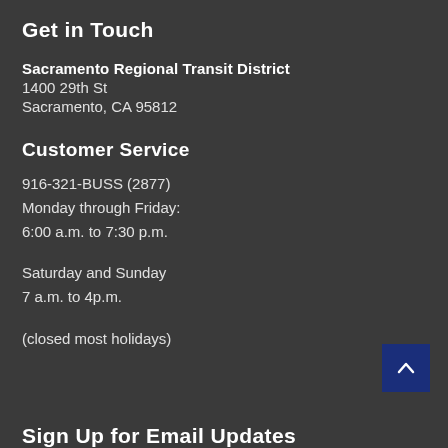Get in Touch
Sacramento Regional Transit District
1400 29th St
Sacramento, CA 95812
Customer Service
916-321-BUSS (2877)
Monday through Friday:
6:00 a.m. to 7:30 p.m.
Saturday and Sunday
7 a.m. to 4p.m.
(closed most holidays)
Sign Up for Email Updates